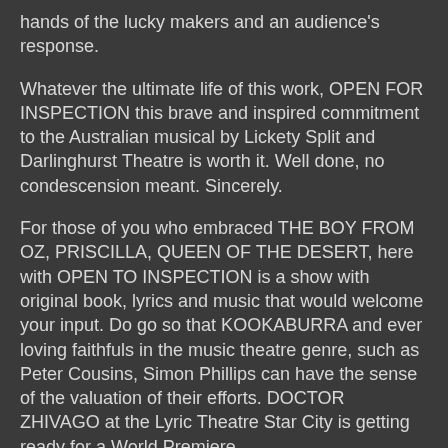hands of the lucky makers and an audience's response.
Whatever the ultimate life of this work, OPEN FOR INSPECTION this brave and inspired commitment to the Australian musical by Lickety Split and Darlinghurst Theatre is worth it. Well done, no condescension meant. Sincerely.
For those of you who embraced THE BOY FROM OZ, PRISCILLA, QUEEN OF THE DESERT, here with OPEN TO INSPECTION is a show with original book, lyrics and music that would welcome your input. Do go so that KOOKABURRA and ever loving faithfuls in the music theatre genre, such as Peter Cousins, Simon Phillips can have the sense of the valuation of their efforts. DOCTOR ZHIVAGO at the Lyric Theatre Star City is getting ready for a World Premiere.
Here's hoping, eh?
Advice from Stephen Sondheim [2] :
"In no particular order, and to be written in stone :